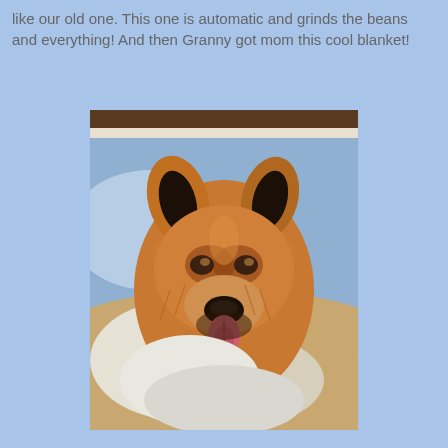like our old one. This one is automatic and grinds the beans and everything! And then Granny got mom this cool blanket!
[Figure (photo): A woven blanket with an image of a German Shepherd dog's face, with tan and black fur, tongue slightly visible, against a blue and white background. The blanket has a fringed edge visible at the top.]